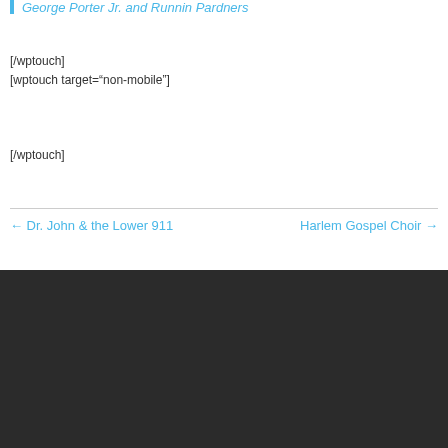George Porter Jr. and Runnin Pardners
[/wptouch]
[wptouch target="non-mobile"]
[/wptouch]
← Dr. John & the Lower 911
Harlem Gospel Choir →
Festival Guide
[Figure (logo): Yellow hexagon badge with lightning bolt icon — Ticketing powered by Elevate]
Ticketing powered by Elevate
Safety & Security
Kids & Families
Camping
Lets Go!